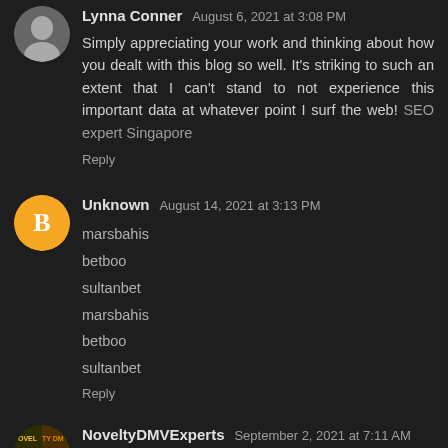Lynna Conner — August 6, 2021 at 3:08 PM
Simply appreciating your work and thinking about how you dealt with this blog so well. It's striking to such an extent that I can't stand to not experience this important data at whatever point I surf the web! SEO expert Singapore
Reply
Unknown — August 14, 2021 at 3:13 PM
marsbahis
betboo
sultanbet
marsbahis
betboo
sultanbet
Reply
NoveltyDMVExperts — September 2, 2021 at 7:11 AM
I am so delighted I found your weblog, I really found you by